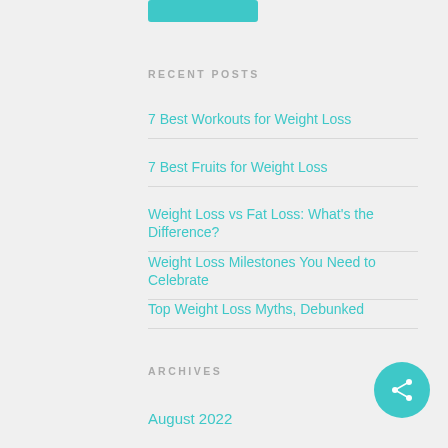[Figure (other): Teal subscribe/button rectangle at top]
RECENT POSTS
7 Best Workouts for Weight Loss
7 Best Fruits for Weight Loss
Weight Loss vs Fat Loss: What's the Difference?
Weight Loss Milestones You Need to Celebrate
Top Weight Loss Myths, Debunked
ARCHIVES
August 2022
[Figure (other): Teal circular share button with share icon]